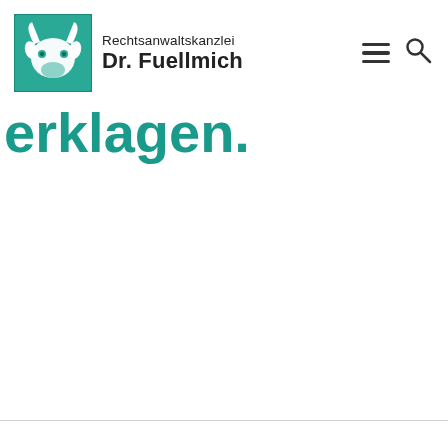[Figure (logo): Rechtsanwaltskanzlei Dr. Fuellmich logo — teal square with white bull/cow head illustration, text 'Rechtsanwaltskanzlei Dr. Fuellmich' to the right]
erklagen.
Wir nutzen Cookies auf unserer Website. Einige von ihnen sind essenziell, während andere uns helfen, diese Website und Ihre Erfahrung zu verbessern.
Cookie Settings | Accept All